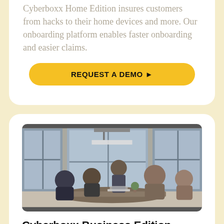Cyberboxx Home Edition insures customers from hacks to their home devices and more. Our onboarding platform enables faster onboarding and easier claims.
REQUEST A DEMO ▶
[Figure (photo): Group of people sitting around a table in a modern office/meeting room with large windows, working together on laptops and documents.]
Cyberboxx Business Edition protection for everyday businesses